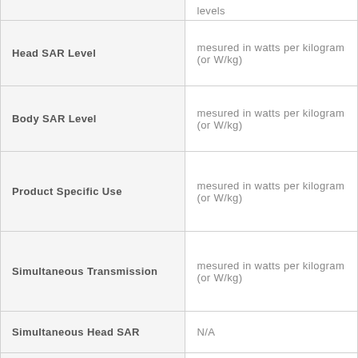| Field | Value |
| --- | --- |
|  | levels |
| Head SAR Level | mesured in watts per kilogram (or W/kg) |
| Body SAR Level | mesured in watts per kilogram (or W/kg) |
| Product Specific Use | mesured in watts per kilogram (or W/kg) |
| Simultaneous Transmission | mesured in watts per kilogram (or W/kg) |
| Simultaneous Head SAR | N/A |
| Simultaneous Body SAR | N/A |